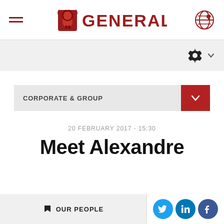Generali — navigation header with hamburger menu, Generali logo, and globe/location icon
[Figure (logo): Generali company logo — lion with text GENERALI in red, with decorative shield emblem to the left]
CORPORATE & GROUP
20 FEBRUARY 2017 - 15:30
Meet Alexandre
OUR PEOPLE
Social share icons: Twitter, LinkedIn, Facebook